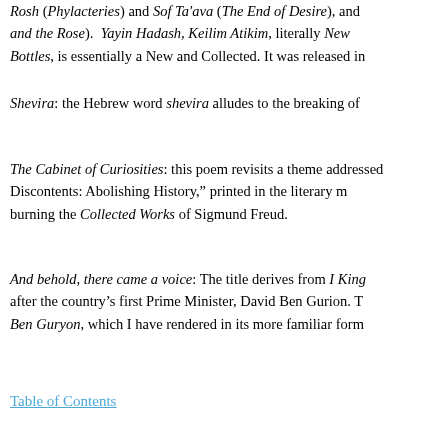Rosh (Phylacteries) and Sof Ta'ava (The End of Desire), and and the Rose). Yayin Hadash, Keilim Atikim, literally New Bottles, is essentially a New and Collected. It was released in
Shevira: the Hebrew word shevira alludes to the breaking of
The Cabinet of Curiosities: this poem revisits a theme addressed Discontents: Abolishing History," printed in the literary m burning the Collected Works of Sigmund Freud.
And behold, there came a voice: The title derives from I King after the country's first Prime Minister, David Ben Gurion. T Ben Guryon, which I have rendered in its more familiar form
Table of Contents